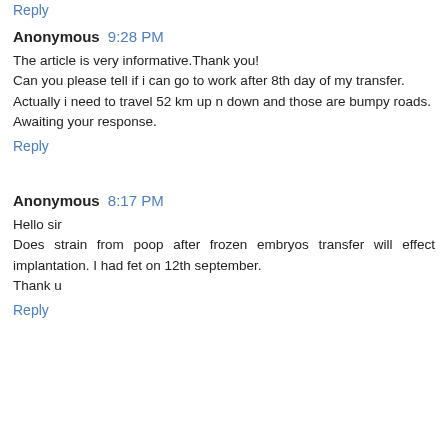Reply
Anonymous 9:28 PM
The article is very informative.Thank you!
Can you please tell if i can go to work after 8th day of my transfer.
Actually i need to travel 52 km up n down and those are bumpy roads.
Awaiting your response.
Reply
Anonymous 8:17 PM
Hello sir
Does strain from poop after frozen embryos transfer will effect implantation. I had fet on 12th september.
Thank u
Reply